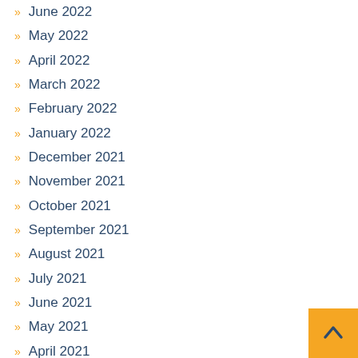June 2022
May 2022
April 2022
March 2022
February 2022
January 2022
December 2021
November 2021
October 2021
September 2021
August 2021
July 2021
June 2021
May 2021
April 2021
March 2021
February 2021